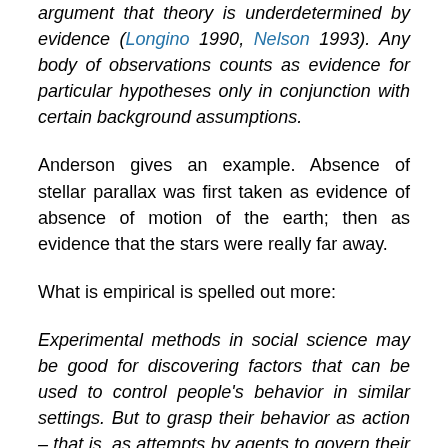argument that theory is underdetermined by evidence (Longino 1990, Nelson 1993). Any body of observations counts as evidence for particular hypotheses only in conjunction with certain background assumptions.
Anderson gives an example. Absence of stellar parallax was first taken as evidence of absence of motion of the earth; then as evidence that the stars were really far away.
What is empirical is spelled out more:
Experimental methods in social science may be good for discovering factors that can be used to control people's behavior in similar settings. But to grasp their behavior as action – that is, as attempts by agents to govern their behavior through their